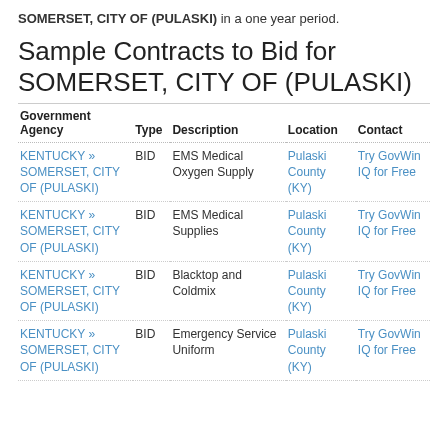SOMERSET, CITY OF (PULASKI) in a one year period.
Sample Contracts to Bid for SOMERSET, CITY OF (PULASKI)
| Government Agency | Type | Description | Location | Contact |
| --- | --- | --- | --- | --- |
| KENTUCKY » SOMERSET, CITY OF (PULASKI) | BID | EMS Medical Oxygen Supply | Pulaski County (KY) | Try GovWin IQ for Free |
| KENTUCKY » SOMERSET, CITY OF (PULASKI) | BID | EMS Medical Supplies | Pulaski County (KY) | Try GovWin IQ for Free |
| KENTUCKY » SOMERSET, CITY OF (PULASKI) | BID | Blacktop and Coldmix | Pulaski County (KY) | Try GovWin IQ for Free |
| KENTUCKY » SOMERSET, CITY OF (PULASKI) | BID | Emergency Service Uniform | Pulaski County (KY) | Try GovWin IQ for Free |